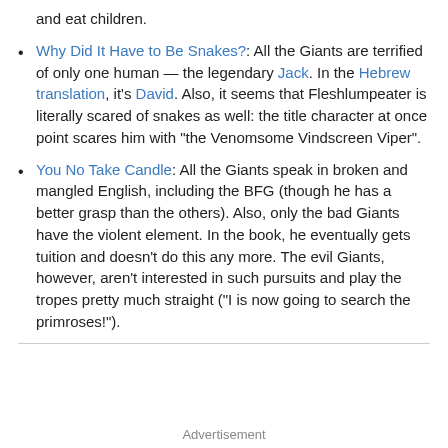and eat children.
Why Did It Have to Be Snakes?: All the Giants are terrified of only one human — the legendary Jack. In the Hebrew translation, it's David. Also, it seems that Fleshlumpeater is literally scared of snakes as well: the title character at once point scares him with "the Venomsome Vindscreen Viper".
You No Take Candle: All the Giants speak in broken and mangled English, including the BFG (though he has a better grasp than the others). Also, only the bad Giants have the violent element. In the book, he eventually gets tuition and doesn't do this any more. The evil Giants, however, aren't interested in such pursuits and play the tropes pretty much straight ("I is now going to search the primroses!").
Advertisement